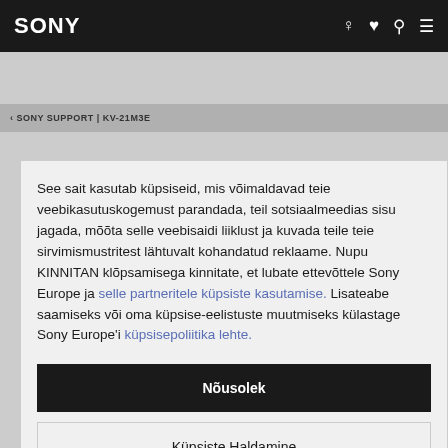SONY
‹ SONY SUPPORT | KV-21M3E
See sait kasutab küpsiseid, mis võimaldavad teie veebikasutuskogemust parandada, teil sotsiaalmeedias sisu jagada, mõõta selle veebisaidi liiklust ja kuvada teile teie sirvimismustritest lähtuvalt kohandatud reklaame. Nupu KINNITAN klõpsamisega kinnitate, et lubate ettevõttele Sony Europe ja selle partneritele küpsiste kasutamise. Lisateabe saamiseks või oma küpsise-eelistuste muutmiseks külastage Sony Europe'i küpsisepoliitika lehte.
Nõusolek
Küpsiste Haldamine